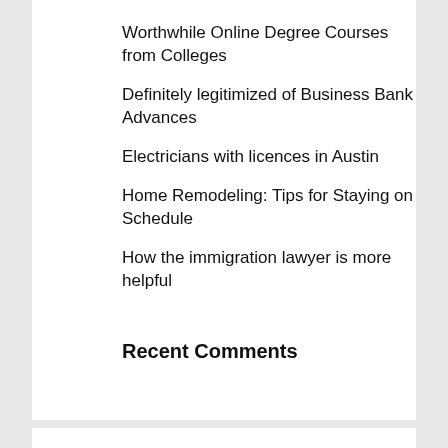Worthwhile Online Degree Courses from Colleges
Definitely legitimized of Business Bank Advances
Electricians with licences in Austin
Home Remodeling: Tips for Staying on Schedule
How the immigration lawyer is more helpful
Recent Comments